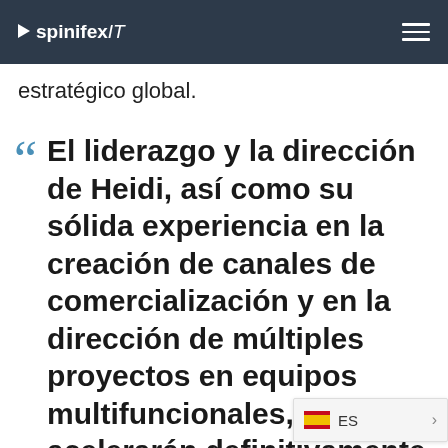spinifexIT
estratégico global.
El liderazgo y la dirección de Heidi, así como su sólida experiencia en la creación de canales de comercialización y en la dirección de múltiples proyectos en equipos multifuncionales, acelerarán definitivamente el crecimiento de